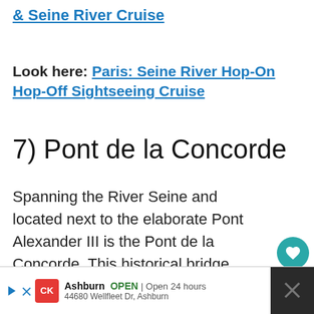& Seine River Cruise
Look here: Paris: Seine River Hop-On Hop-Off Sightseeing Cruise
7) Pont de la Concorde
Spanning the River Seine and located next to the elaborate Pont Alexander III is the Pont de la Concorde. This historical bridge has five stone arches and connects the National Assembly building with the la Concorde.
[Figure (infographic): Social share sidebar with heart/like button showing 1.2K count and share button]
[Figure (infographic): What's Next widget showing thumbnail of gardens and text '12 Pretty Gardens An...']
[Figure (infographic): Advertisement bar: Ashburn location, OPEN, Open 24 hours, 44680 Wellfleet Dr, Ashburn with navigation icon]